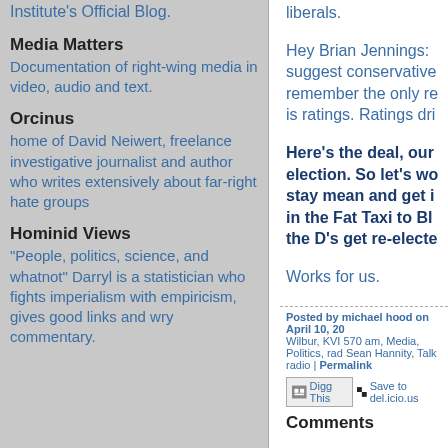Institute's Official Blog.
Media Matters
Documentation of right-wing media in video, audio and text.
Orcinus
home of David Neiwert, freelance investigative journalist and author who writes extensively about far-right hate groups
Hominid Views
"People, politics, science, and whatnot" Darryl is a statistician who fights imperialism with empiricism, gives good links and wry commentary.
liberals.
Hey Brian Jennings: suggest conservative remember the only re is ratings. Ratings dri
Here's the deal, our election. So let's wo stay mean and get i in the Fat Taxi to Bl the D's get re-electe
Works for us.
Posted by michael hood on April 10, 20 Wilbur, KVI 570 am, Media, Politics, rad Sean Hannity, Talk radio | Permalink
Digg This   Save to del.icio.us
Comments